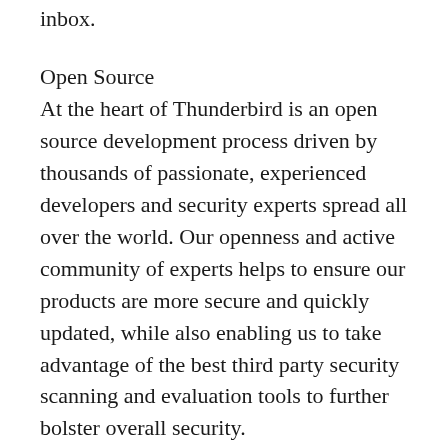inbox.
Open Source
At the heart of Thunderbird is an open source development process driven by thousands of passionate, experienced developers and security experts spread all over the world. Our openness and active community of experts helps to ensure our products are more secure and quickly updated, while also enabling us to take advantage of the best third party security scanning and evaluation tools to further bolster overall security.
Size (7z): 93 Mb
Doumload Mozilla Thunderbird 78.4.2 Final